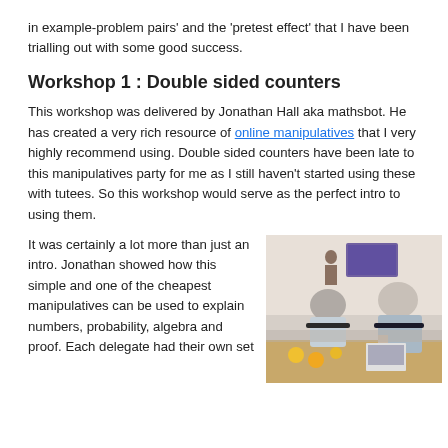in example-problem pairs' and the 'pretest effect' that I have been trialling out with some good success.
Workshop 1 : Double sided counters
This workshop was delivered by Jonathan Hall aka mathsbot. He has created a very rich resource of online manipulatives that I very highly recommend using. Double sided counters have been late to this manipulatives party for me as I still haven't started using these with tutees. So this workshop would serve as the perfect intro to using them.
It was certainly a lot more than just an intro. Jonathan showed how this simple and one of the cheapest manipulatives can be used to explain numbers, probability, algebra and proof. Each delegate had their own set
[Figure (photo): Workshop participants seated at desks facing a presenter at the front of a room with a computer screen visible. Photo taken from behind the audience.]